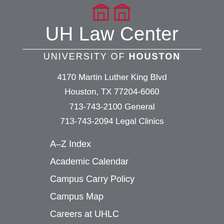[Figure (logo): UH Law Center logo with two small red building/institution icons]
UH Law Center
UNIVERSITY OF HOUSTON
4170 Martin Luther King Blvd
Houston, TX 77204-6060
713-743-2100 General
713-743-2094 Legal Clinics
A–Z Index
Academic Calendar
Campus Carry Policy
Campus Map
Careers at UHLC
Class Schedule